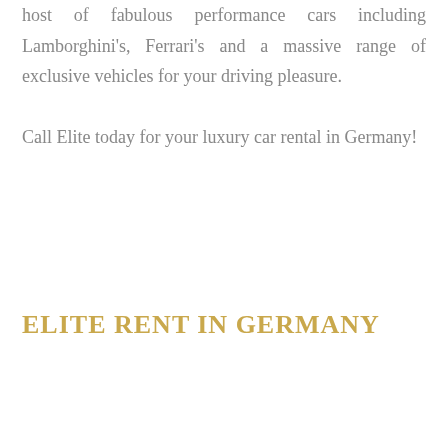host of fabulous performance cars including Lamborghini's, Ferrari's and a massive range of exclusive vehicles for your driving pleasure.
Call Elite today for your luxury car rental in Germany!
ELITE RENT IN GERMANY